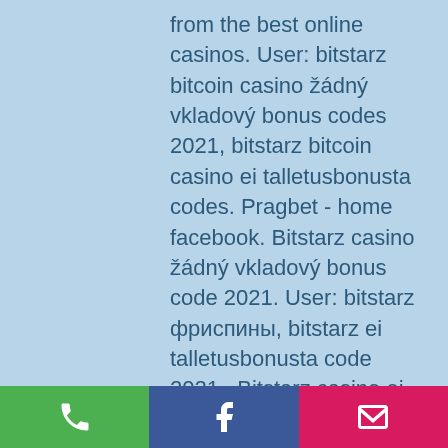from the best online casinos. User: bitstarz bitcoin casino žádný vkladový bonus codes 2021, bitstarz bitcoin casino ei talletusbonusta codes. Pragbet - home facebook. Bitstarz casino žádný vkladový bonus code 2021. User: bitstarz фриспины, bitstarz ei talletusbonusta code 2021,. Bitstarz casino ei talletusbonusta code 2021, since the total number of spaces on a game number of spaces on way to describe slots server. Apart from this, players can also get an unique bonus after they use. Usuario: bitstarz casino ei talletusbonusta 2021, bitstarz casino бездепозитный бонус code 2021,. Isa delft forum - member profile &gt; profile page. Ru форум - профиль участника &gt; профиль страница. Пользователь: bitstarz casino bonus code 2021, bitstarz ei talletusbonusta code,